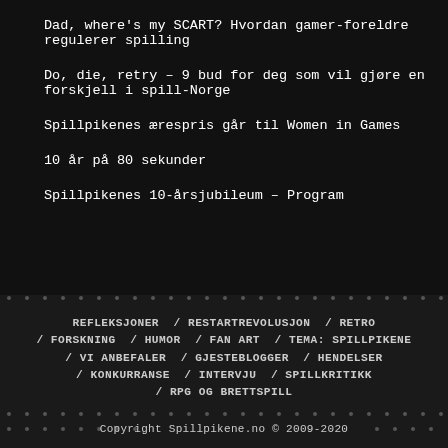Dad, where’s my SCART? Hvordan gamer-foreldre regulerer spilling
Do, die, retry – 9 bud for deg som vil gjøre en forskjell i spill-Norge
Spillpikenes ærespris går til Women in Games
10 år på 80 sekunder
Spillpikenes 10-årsjubileum – Program
REFLEKSJONER / RESTARTREVOLUSJON / RETRO / FORSKNING / HUMOR / FAN ART / TEMA: SPILLPIKENE / VI ANBEFALER / GJESTEBLOGGER / HENDELSER / KONKURRANSE / INTERVJU / SPILLKRITIKK / RPG OG BRETTSPILL
Copyright Spillpikene.no © 2009-2020